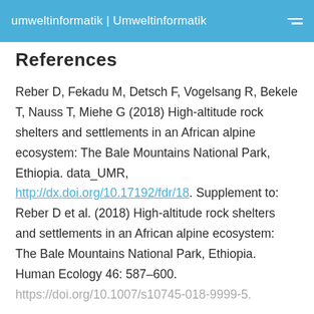umweltinformatik | Umweltinformatik
References
Reber D, Fekadu M, Detsch F, Vogelsang R, Bekele T, Nauss T, Miehe G (2018) High-altitude rock shelters and settlements in an African alpine ecosystem: The Bale Mountains National Park, Ethiopia. data_UMR, http://dx.doi.org/10.17192/fdr/18. Supplement to: Reber D et al. (2018) High-altitude rock shelters and settlements in an African alpine ecosystem: The Bale Mountains National Park, Ethiopia. Human Ecology 46: 587–600. https://doi.org/10.1007/s10745-018-9999-5.